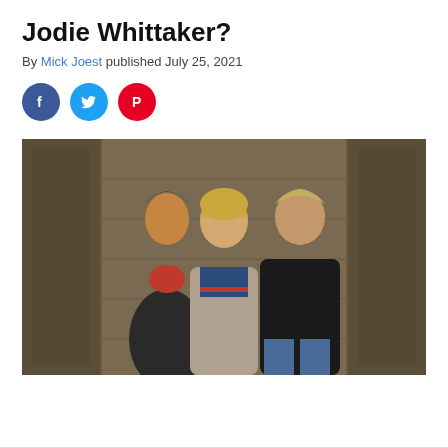Jodie Whittaker?
By Mick Joest published July 25, 2021
[Figure (other): Three social media share buttons: Facebook (blue circle with 'f'), Twitter (light blue circle with bird icon), Pinterest (red circle with 'P')]
[Figure (photo): Three people standing in front of a stone wall: a woman with dark hair wearing a leather jacket and red scarf on the left, a woman with blonde hair in a grey coat in the center (the Doctor), and a man with blonde hair in a black leather jacket on the right.]